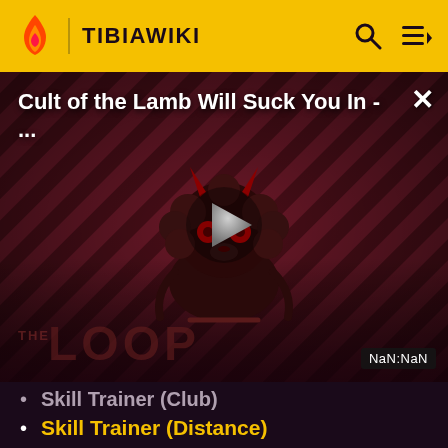TIBIAWIKI
[Figure (screenshot): Video overlay with diagonal stripe dark red/brown background showing 'Cult of the Lamb Will Suck You In - ...' title, a cartoon lamb character with devil horns and red eyes, a play button in the center, 'THE LOOP' watermark text at bottom left, close X button top right, and NaN:NaN time badge at bottom right.]
Skill Trainer (Club)
Skill Trainer (Distance)
Skill Trainer (Magic)
Skill Trainer (Sword)
Skull Pillar
Skull Pillar (Animal)